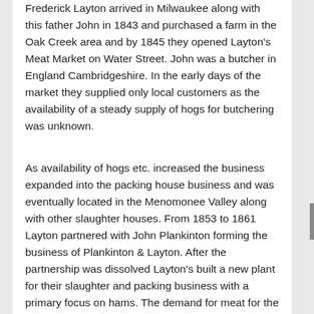Frederick Layton arrived in Milwaukee along with this father John in 1843 and purchased a farm in the Oak Creek area and by 1845 they opened Layton's Meat Market on Water Street. John was a butcher in England Cambridgeshire. In the early days of the market they supplied only local customers as the availability of a steady supply of hogs for butchering was unknown.
As availability of hogs etc. increased the business expanded into the packing house business and was eventually located in the Menomonee Valley along with other slaughter houses. From 1853 to 1861 Layton partnered with John Plankinton forming the business of Plankinton & Layton. After the partnership was dissolved Layton's built a new plant for their slaughter and packing business with a primary focus on hams. The demand for meat for the soldiers in the Civil War